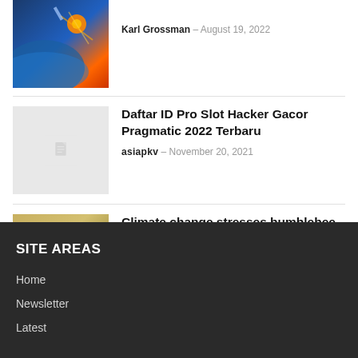[Figure (photo): Partial thumbnail of space/satellite image with orange glowing elements against Earth background]
Karl Grossman – August 19, 2022
[Figure (photo): Gray placeholder thumbnail with document icon]
Daftar ID Pro Slot Hacker Gacor Pragmatic 2022 Terbaru
asiapkv – November 20, 2021
[Figure (photo): Close-up photo of a bumblebee on a flower with yellow/brown coloring]
Climate change stresses bumblebee population in past century new study finds
Ashley Curtin – August 19, 2022
SITE AREAS
Home
Newsletter
Latest